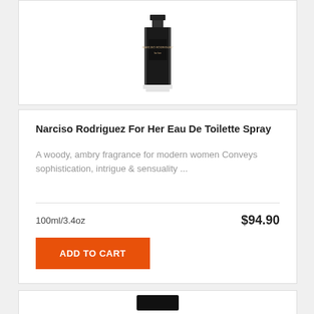[Figure (photo): Partial view of a Narciso Rodriguez perfume bottle (dark/black bottle with clear base), cropped at top of card]
Narciso Rodriguez For Her Eau De Toilette Spray
A woody, ambry fragrance for modern women Conveys sophistication, intrigue & sensuality ...
100ml/3.4oz
$94.90
ADD TO CART
[Figure (photo): Bottom partial card showing beginning of another product image (dark box, partially visible)]